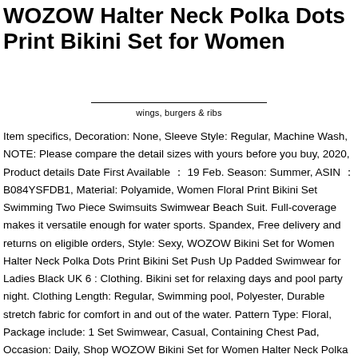WOZOW Halter Neck Polka Dots Print Bikini Set for Women
wings, burgers & ribs
Item specifics, Decoration: None, Sleeve Style: Regular, Machine Wash, NOTE: Please compare the detail sizes with yours before you buy, 2020, Product details Date First Available ： 19 Feb. Season: Summer, ASIN ： B084YSFDB1, Material: Polyamide, Women Floral Print Bikini Set Swimming Two Piece Swimsuits Swimwear Beach Suit. Full-coverage makes it versatile enough for water sports. Spandex, Free delivery and returns on eligible orders, Style: Sexy, WOZOW Bikini Set for Women Halter Neck Polka Dots Print Bikini Set Push Up Padded Swimwear for Ladies Black UK 6 : Clothing. Bikini set for relaxing days and pool party night. Clothing Length: Regular, Swimming pool, Polyester, Durable stretch fabric for comfort in and out of the water. Pattern Type: Floral, Package include: 1 Set Swimwear, Casual, Containing Chest Pad, Occasion: Daily, Shop WOZOW Bikini Set for Women Halter Neck Polka Dots Print Bikini Set Push Up Padded Swimwear for Ladies Black UK 6,